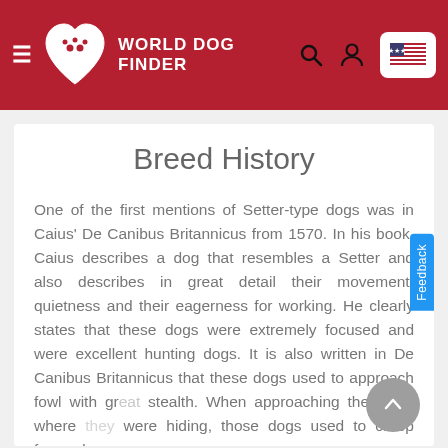World Dog Finder
Breed History
One of the first mentions of Setter-type dogs was in Caius' De Canibus Britannicus from 1570. In his book, Caius describes a dog that resembles a Setter and also describes in great detail their movement, quietness and their eagerness for working. He clearly states that these dogs were extremely focused and were excellent hunting dogs. It is also written in De Canibus Britannicus that these dogs used to approach fowl with great stealth. When approaching the place where they were hiding, those dogs used to creep forward,